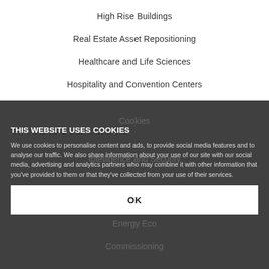High Rise Buildings
Real Estate Asset Repositioning
Healthcare and Life Sciences
Hospitality and Convention Centers
THIS WEBSITE USES COOKIES
We use cookies to personalise content and ads, to provide social media features and to analyse our traffic. We also share information about your use of our site with our social media, advertising and analytics partners who may combine it with other information that you've provided to them or that they've collected from your use of their services.
OK